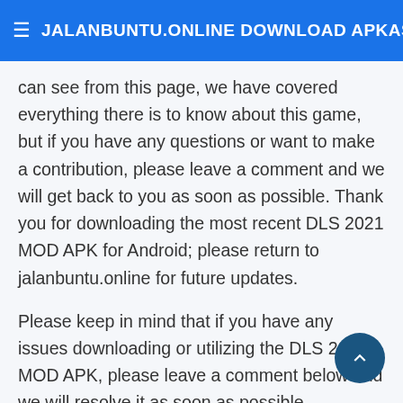≡ JALANBUNTU.ONLINE DOWNLOAD APKASI A
can see from this page, we have covered everything there is to know about this game, but if you have any questions or want to make a contribution, please leave a comment and we will get back to you as soon as possible. Thank you for downloading the most recent DLS 2021 MOD APK for Android; please return to jalanbuntu.online for future updates.
Please keep in mind that if you have any issues downloading or utilizing the DLS 2022 MOD APK, please leave a comment below and we will resolve it as soon as possible.